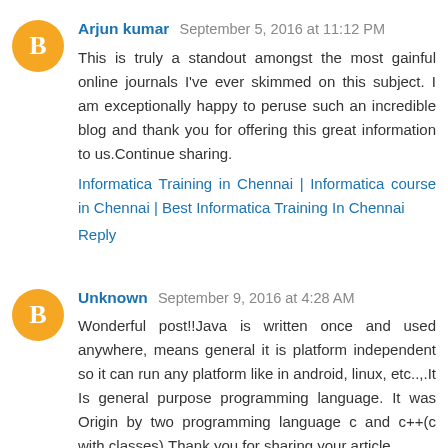Arjun kumar September 5, 2016 at 11:12 PM
This is truly a standout amongst the most gainful online journals I've ever skimmed on this subject. I am exceptionally happy to peruse such an incredible blog and thank you for offering this great information to us.Continue sharing.
Informatica Training in Chennai | Informatica course in Chennai | Best Informatica Training In Chennai
Reply
Unknown September 9, 2016 at 4:28 AM
Wonderful post!!Java is written once and used anywhere, means general it is platform independent so it can run any platform like in android, linux, etc..,.It Is general purpose programming language. It was Origin by two programming language c and c++(c with classes).Thank you for sharing your article.
Regards,
java training in android MVC Training in Chennai